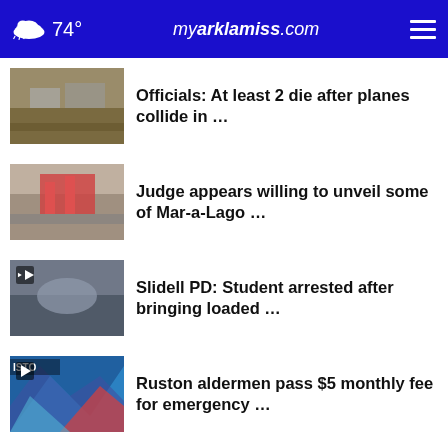74° myarklamiss.com
Officials: At least 2 die after planes collide in …
Judge appears willing to unveil some of Mar-a-Lago …
Slidell PD: Student arrested after bringing loaded …
Ruston aldermen pass $5 monthly fee for emergency …
South Arkansas residents react to survey revealing …
More Stories ›